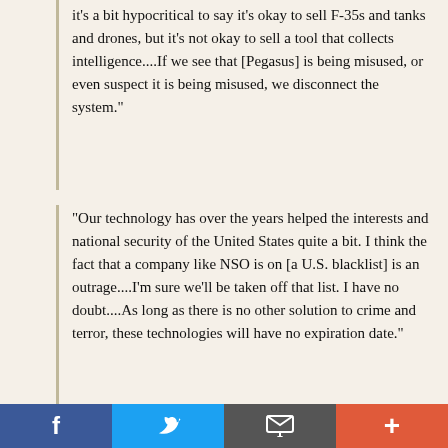it's a bit hypocritical to say it's okay to sell F-35s and tanks and drones, but it's not okay to sell a tool that collects intelligence....If we see that [Pegasus] is being misused, or even suspect it is being misused, we disconnect the system."
"Our technology has over the years helped the interests and national security of the United States quite a bit. I think the fact that a company like NSO is on [a U.S. blacklist] is an outrage....I'm sure we'll be taken off that list. I have no doubt....As long as there is no other solution to crime and terror, these technologies will have no expiration date."
Pirate Palestinian quarry chips away at ancient aqueduct
An illegal Palestinian quarry in Gush Etzion is causing gradual damage to a major archaeological site – an ancient aqueduct that runs between Gush Etzion and Jerusalem.
The aqueduct, which dates back some 2,000 years to
f  [Twitter bird]  [email icon]  +